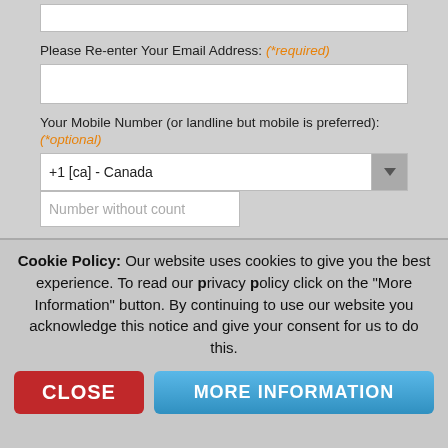Please Re-enter Your Email Address: (*required)
Your Mobile Number (or landline but mobile is preferred): (*optional)
+1 [ca] - Canada
Number without count
Event Location: (*required)
Physical Location (live performance)
Virtual Event (remote/online performance)
Event Date: (*optional)
Cookie Policy: Our website uses cookies to give you the best experience. To read our privacy policy click on the "More Information" button. By continuing to use our website you acknowledge this notice and give your consent for us to do this.